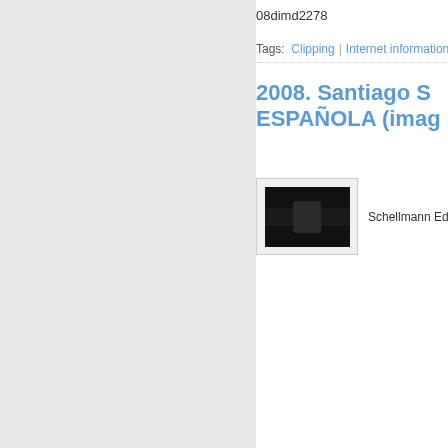08dimd2278
Tags:  Clipping  |  Internet information
2008. Santiago S... ESPAÑOLA (imag...
[Figure (photo): Thumbnail of a dark artwork image]
Schellmann Ed...